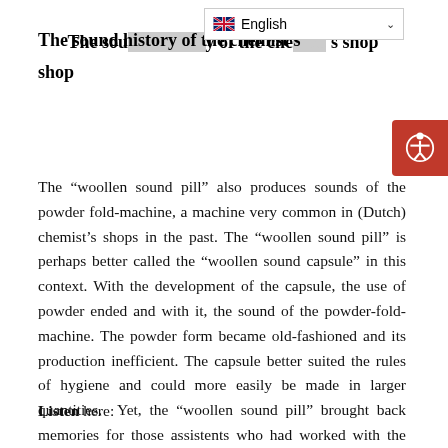The sound history of the chemist's shop
The “woollen sound pill” also produces sounds of the powder fold-machine, a machine very common in (Dutch) chemist’s shops in the past. The “woollen sound pill” is perhaps better called the “woollen sound capsule” in this context. With the development of the capsule, the use of powder ended and with it, the sound of the powder-fold-machine. The powder form became old-fashioned and its production inefficient. The capsule better suited the rules of hygiene and could more easily be made in larger quantities. Yet, the “woollen sound pill” brought back memories for those assistents who had worked with the powder-fold-machine.
Listen here: